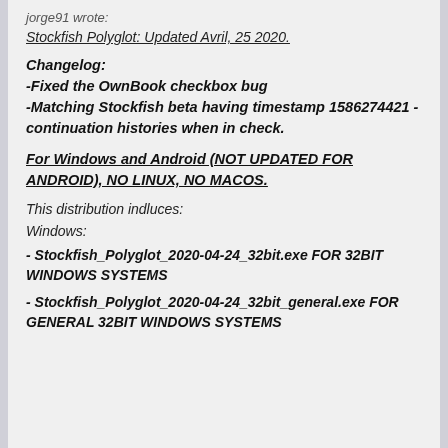jorge91 wrote:
Stockfish Polyglot: Updated Avril, 25 2020.
Changelog:
-Fixed the OwnBook checkbox bug
-Matching Stockfish beta having timestamp 1586274421 - continuation histories when in check.
For Windows and Android (NOT UPDATED FOR ANDROID), NO LINUX, NO MACOS.
This distribution indluces:
Windows:
- Stockfish_Polyglot_2020-04-24_32bit.exe FOR 32BIT WINDOWS SYSTEMS
- Stockfish_Polyglot_2020-04-24_32bit_general.exe FOR GENERAL 32BIT WINDOWS SYSTEMS